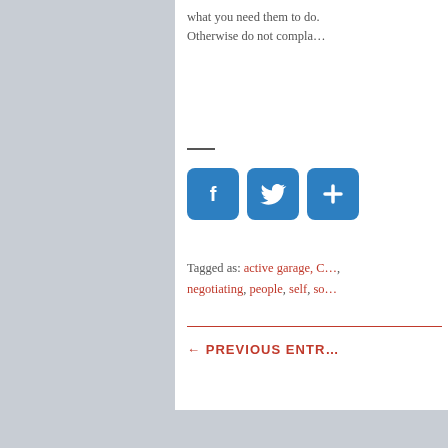what you need them to do. Otherwise do not compla…
[Figure (other): Social sharing buttons: Facebook (f), Twitter (bird icon), and a share/plus button, all in blue rounded squares]
Tagged as: active garage, C…, negotiating, people, self, so…
← PREVIOUS ENTR…